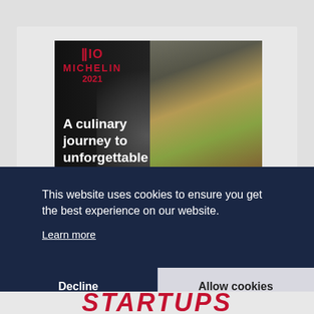[Figure (screenshot): Michelin 2021 guide advertisement showing a culinary dish with text 'A culinary journey to unforgettable nights' on a dark background]
This website uses cookies to ensure you get the best experience on our website.
Learn more
Decline
Allow cookies
STARTUPS